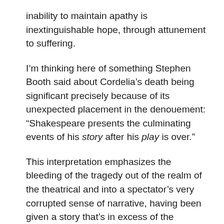inability to maintain apathy is inextinguishable hope, through attunement to suffering.
I’m thinking here of something Stephen Booth said about Cordelia’s death being significant precisely because of its unexpected placement in the denouement: “Shakespeare presents the culminating events of his story after his play is over.”
This interpretation emphasizes the bleeding of the tragedy out of the realm of the theatrical and into a spectator’s very corrupted sense of narrative, having been given a story that’s in excess of the narrative structure of the play, and very depressingly so. King Lear would be an encouragement not to give up on this world, not to succumb to Gnostic temptation and its peculiar theodicy that would have us give up on this